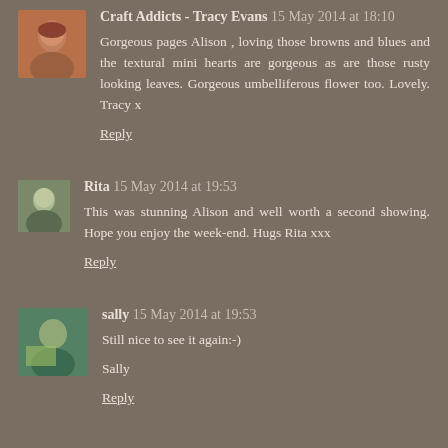Craft Addicts - Tracy Evans  15 May 2014 at 18:10
Gorgeous pages Alison , loving those browns and blues and the textural mini hearts are gorgeous as are those rusty looking leaves. Gorgeous umbelliferous flower too. Lovely. Tracy x
Reply
Rita  15 May 2014 at 19:53
This was stunning Alison and well worth a second showing. Hope you enjoy the week-end. Hugs Rita xxx
Reply
sally  15 May 2014 at 19:53
Still nice to see it again:-)
Sally
Reply